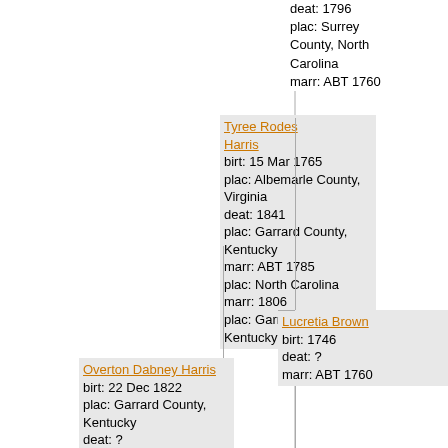[Figure (other): Genealogy tree showing Tyree Rodes Harris, Lucretia Brown (parents), and Overton Dabney Harris (child), with connecting lines. Top-right shows partial ancestor info: deat: 1796, plac: Surrey County, North Carolina, marr: ABT 1760.]